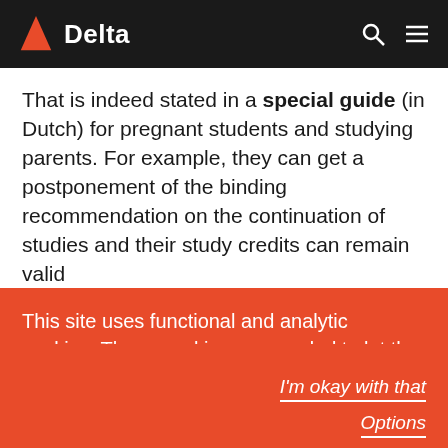Delta
That is indeed stated in a special guide (in Dutch) for pregnant students and studying parents. For example, they can get a postponement of the binding recommendation on the continuation of studies and their study credits can remain valid
This site uses functional and analytic cookies. These cookies are needed to let the site operate to its full potential. You can manage your preferences.
I'm okay with that
Options